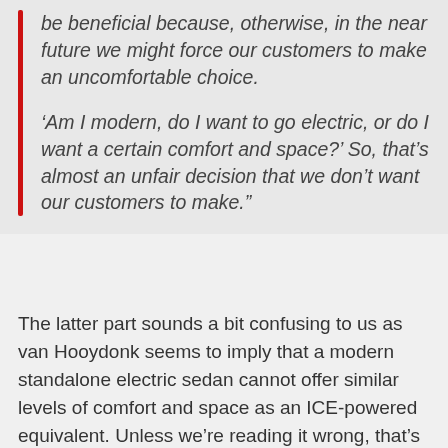be beneficial because, otherwise, in the near future we might force our customers to make an uncomfortable choice.

‘Am I modern, do I want to go electric, or do I want a certain comfort and space?’ So, that’s almost an unfair decision that we don’t want our customers to make.”
The latter part sounds a bit confusing to us as van Hooydonk seems to imply that a modern standalone electric sedan cannot offer similar levels of comfort and space as an ICE-powered equivalent. Unless we’re reading it wrong, that’s not quite accurate as modern EVs built on dedicated platforms are typically more spacious